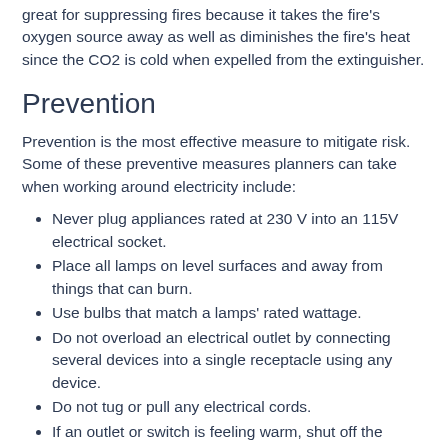great for suppressing fires because it takes the fire's oxygen source away as well as diminishes the fire's heat since the CO2 is cold when expelled from the extinguisher.
Prevention
Prevention is the most effective measure to mitigate risk. Some of these preventive measures planners can take when working around electricity include:
Never plug appliances rated at 230 V into an 115V electrical socket.
Place all lamps on level surfaces and away from things that can burn.
Use bulbs that match a lamps' rated wattage.
Do not overload an electrical outlet by connecting several devices into a single receptacle using any device.
Do not tug or pull any electrical cords.
If an outlet or switch is feeling warm, shut off the circuit and call an electrician to check the system.
Follow manufacturer's instructions for plugging a device into an electrical outlet.